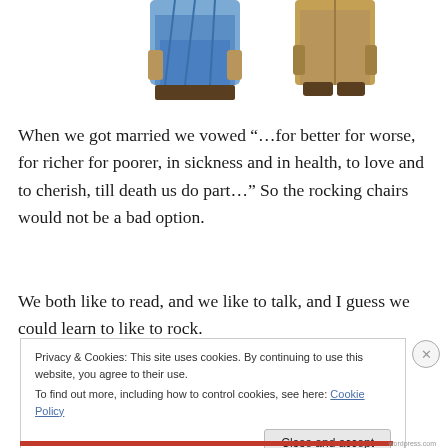[Figure (photo): Two ceramic/figurine statues partially visible — one in blue robe on left, one in brown coat on right, cropped at top of page]
When we got married we vowed “…for better for worse, for richer for poorer, in sickness and in health, to love and to cherish, till death us do part…” So the rocking chairs would not be a bad option.
We both like to read, and we like to talk, and I guess we could learn to like to rock.
Privacy & Cookies: This site uses cookies. By continuing to use this website, you agree to their use.
To find out more, including how to control cookies, see here: Cookie Policy